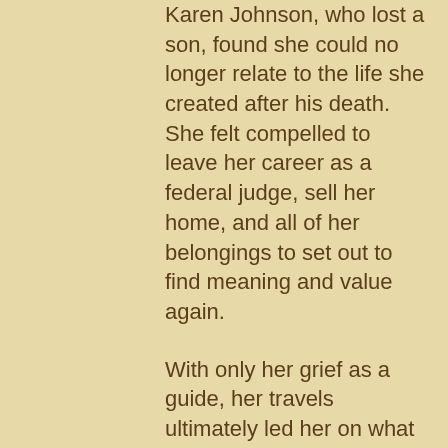Karen Johnson, who lost a son, found she could no longer relate to the life she created after his death. She felt compelled to leave her career as a federal judge, sell her home, and all of her belongings to set out to find meaning and value again.
With only her grief as a guide, her travels ultimately led her on what became a two-and-a-half-year sacred pilgrimage. She found healing and a completely new life path in Modern Shamanism through the Four Winds Society tradition. Now a trained shaman, Karen hopes to be a catalyst for healing for others suffering from loss. She will soon be leading individual and group grief retreats at